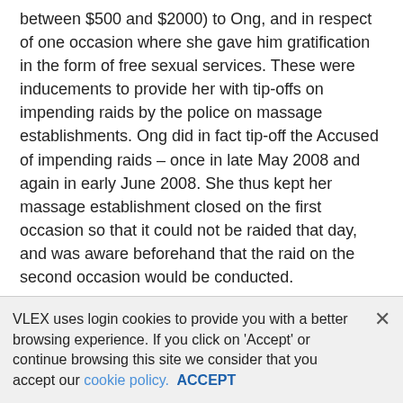between $500 and $2000) to Ong, and in respect of one occasion where she gave him gratification in the form of free sexual services. These were inducements to provide her with tip-offs on impending raids by the police on massage establishments. Ong did in fact tip-off the Accused of impending raids – once in late May 2008 and again in early June 2008. She thus kept her massage establishment closed on the first occasion so that it could not be raided that day, and was aware beforehand that the raid on the second occasion would be conducted.
4 Between 10 May and 16 July 2008, the Accused also managed a brothel by allowing her massage establishment to be used for sexual services by four masseuses who worked there. She instructed them on how much to charge for the sexual services, and imposed a $200 fee on them for allowing them to
VLEX uses login cookies to provide you with a better browsing experience. If you click on 'Accept' or continue browsing this site we consider that you accept our cookie policy. ACCEPT